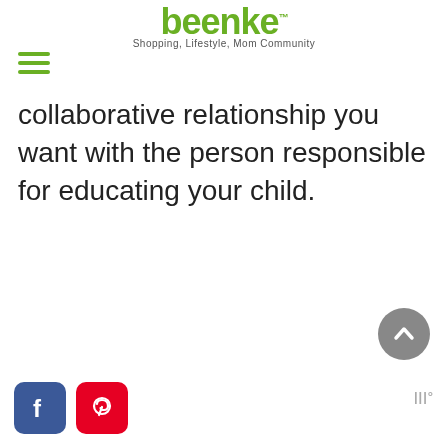beenke™ — Shopping, Lifestyle, Mom Community
collaborative relationship you want with the person responsible for educating your child.
[Figure (other): Scroll to top button — circular grey button with upward chevron arrow]
[Figure (other): Widget icon — stylized triple bar icon with superscript degree symbol]
[Figure (logo): Facebook social media icon — blue rounded square with white F]
[Figure (logo): Pinterest social media icon — red rounded square with white P]